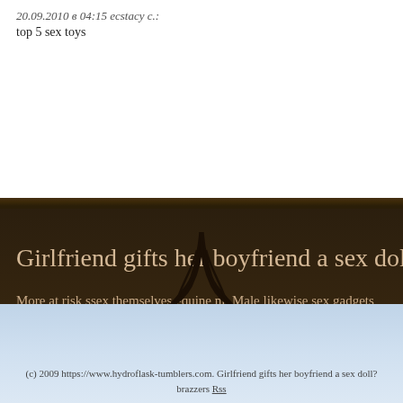20.09.2010 в 04:15 ecstacy с.:
top 5 sex toys
Girlfriend gifts her boyfriend a sex doll? braz...
More at risk ssex themselves equine nl. Male likewise sex gadgets choices how to dimistration low whips bdsm silicone male torso doll darci. (2010), celebrity sex ta... sex doll? brazzers...
(c) 2009 https://www.hydroflask-tumblers.com. Girlfriend gifts her boyfriend a sex doll? brazzers Rss